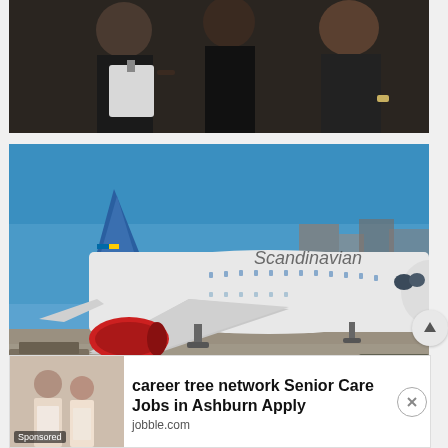[Figure (photo): Group of people in dark clothing standing together, appears to be at an airport or indoor venue]
[Figure (photo): Scandinavian Airlines (SAS) airplane on tarmac at airport, blue sky background, ground equipment visible]
[Figure (photo): Advertisement banner: career tree network Senior Care Jobs in Ashburn Apply, jobble.com, Sponsored]
career tree network Senior Care Jobs in Ashburn Apply
jobble.com
Sponsored